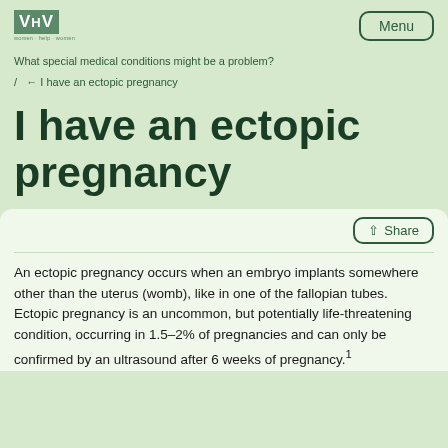VHV — Menu
What special medical conditions might be a problem?
/ ← I have an ectopic pregnancy
I have an ectopic pregnancy
Share
An ectopic pregnancy occurs when an embryo implants somewhere other than the uterus (womb), like in one of the fallopian tubes. Ectopic pregnancy is an uncommon, but potentially life-threatening condition, occurring in 1.5–2% of pregnancies and can only be confirmed by an ultrasound after 6 weeks of pregnancy.1